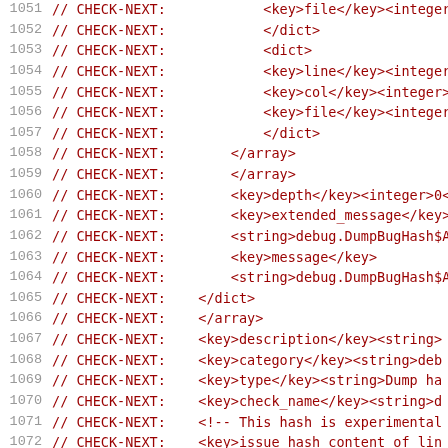Code listing lines 1051-1072 showing CHECK-NEXT directives with XML-like key/value structures for debug hash checks